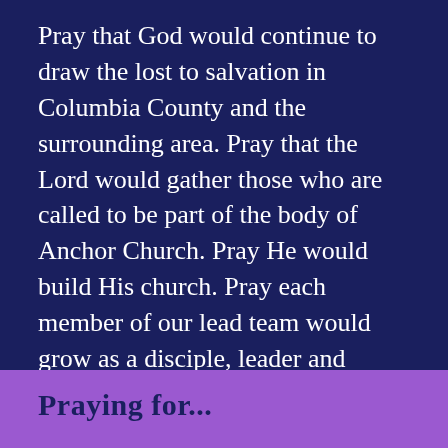Pray that God would continue to draw the lost to salvation in Columbia County and the surrounding area. Pray that the Lord would gather those who are called to be part of the body of Anchor Church. Pray He would build His church. Pray each member of our lead team would grow as a disciple, leader and discipler in these early days of our church plant. Pray against the work of the enemy and his demons. Pray our armor and spiritual weaponry would be ready to fight against darkness with God's Word and Light.
Praying for...